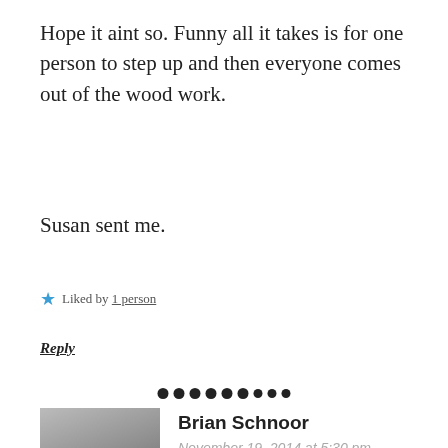Hope it aint so. Funny all it takes is for one person to step up and then everyone comes out of the wood work.
Susan sent me.
★ Liked by 1 person
Reply
[Figure (other): Horizontal separator made of 8 black dots of varying sizes]
[Figure (photo): Avatar photo of Brian Schnoor, a man wearing glasses and a black Fender t-shirt]
Brian Schnoor
November 19, 2014 at 5:30 pm